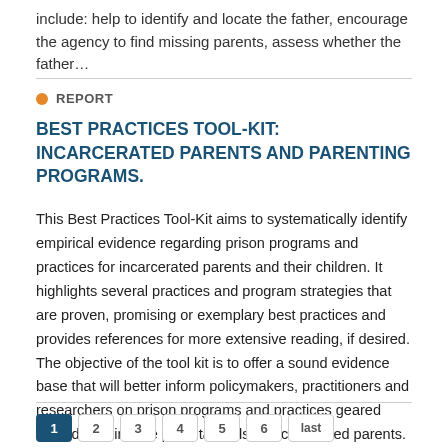include: help to identify and locate the father, encourage the agency to find missing parents, assess whether the father…
REPORT
BEST PRACTICES TOOL-KIT: INCARCERATED PARENTS AND PARENTING PROGRAMS.
This Best Practices Tool-Kit aims to systematically identify empirical evidence regarding prison programs and practices for incarcerated parents and their children. It highlights several practices and program strategies that are proven, promising or exemplary best practices and provides references for more extensive reading, if desired. The objective of the tool kit is to offer a sound evidence base that will better inform policymakers, practitioners and researchers on prison programs and practices geared toward building the parental skills of incarcerated parents. (Author abstract)
1 2 3 4 5 6 last